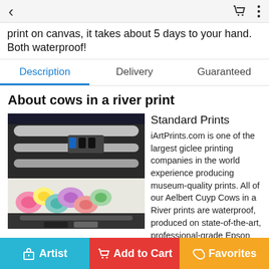< [back] [cart] [more]
print on canvas, it takes about 5 days to your hand. Both waterproof!
Description | Delivery | Guaranteed
About cows in a river print
[Figure (photo): Large format giclee printer printing a floral image on canvas]
Standard Prints
iArtPrints.com is one of the largest giclee printing companies in the world experience producing museum-quality prints. All of our Aelbert Cuyp Cows in a River prints are waterproof, produced on state-of-the-art, professional-grade Epson printers.
We use acid-free cotton canvas with archival inks to guarantee that your prints last a lifetime without fading or loss of color. Aelbert Cuyp Cows in a River print is also...
Artist | Add to Cart | Favorites